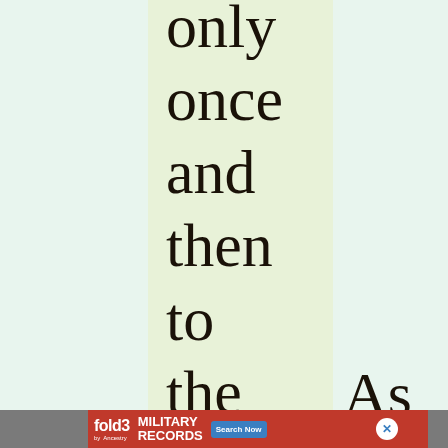only once and then to the other.
As
[Figure (other): Advertisement banner for Fold3 Military Records by Ancestry with a Search Now button and a photo of a soldier]